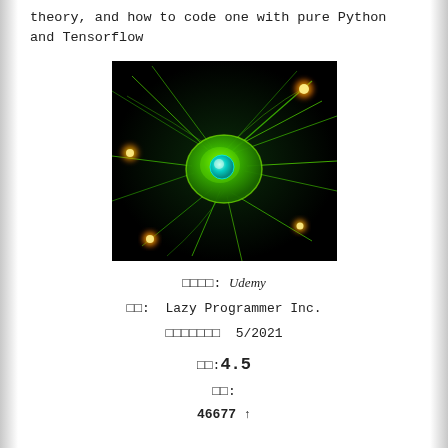theory, and how to code one with pure Python and Tensorflow
[Figure (photo): Glowing green neuron with orange light points on a dark background, illustrating a neural network concept.]
□□□□: Udemy
□□: Lazy Programmer Inc.
□□□□□□□ 5/2021
□□:4.5
□□:
46677 ↑